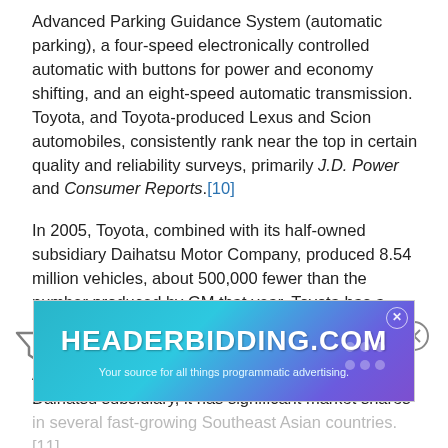Advanced Parking Guidance System (automatic parking), a four-speed electronically controlled automatic with buttons for power and economy shifting, and an eight-speed automatic transmission. Toyota, and Toyota-produced Lexus and Scion automobiles, consistently rank near the top in certain quality and reliability surveys, primarily J.D. Power and Consumer Reports.[10]
In 2005, Toyota, combined with its half-owned subsidiary Daihatsu Motor Company, produced 8.54 million vehicles, about 500,000 fewer than the number produced by GM that year. Toyota has a large market share in the United States, but a small market share in Europe. Its also sells vehicles in Africa and is a market leader in Australia. Due to its Daihatsu subsidiary, it has significant market shares in several fast-growing Southeast Asian countries.[11]
[Figure (other): HEADERBIDDING.COM advertisement banner - 'Your source for all things programmatic advertising.']